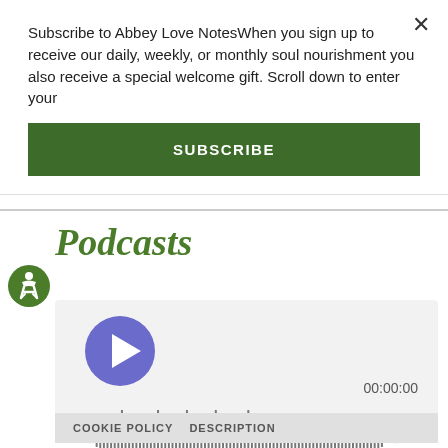Subscribe to Abbey Love NotesWhen you sign up to receive our daily, weekly, or monthly soul nourishment you also receive a special welcome gift. Scroll down to enter your
SUBSCRIBE
Podcasts
[Figure (screenshot): Audio podcast player with a blue circular play button, waveform visualization of the audio, time display showing 00:00:00, and a footer bar with COOKIE POLICY and DESCRIPTION links]
COOKIE POLICY   DESCRIPTION